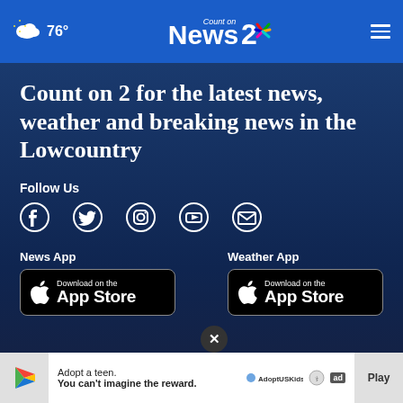76° Count on News 2 [navigation bar with weather, logo, and menu]
Count on 2 for the latest news, weather and breaking news in the Lowcountry
Follow Us
[Figure (infographic): Social media icons: Facebook, Twitter, Instagram, YouTube, Email]
News App
[Figure (screenshot): Download on the App Store button (News App)]
Weather App
[Figure (screenshot): Download on the App Store button (Weather App)]
[Figure (infographic): Advertisement banner: Adopt a teen. You can't imagine the reward. AdoptUSKids ad]
Play